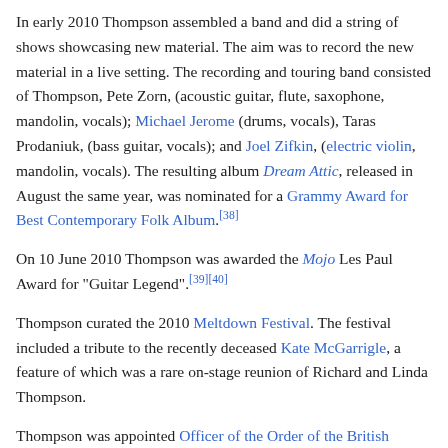In early 2010 Thompson assembled a band and did a string of shows showcasing new material. The aim was to record the new material in a live setting. The recording and touring band consisted of Thompson, Pete Zorn, (acoustic guitar, flute, saxophone, mandolin, vocals); Michael Jerome (drums, vocals), Taras Prodaniuk, (bass guitar, vocals); and Joel Zifkin, (electric violin, mandolin, vocals). The resulting album Dream Attic, released in August the same year, was nominated for a Grammy Award for Best Contemporary Folk Album.[38]
On 10 June 2010 Thompson was awarded the Mojo Les Paul Award for "Guitar Legend".[39][40]
Thompson curated the 2010 Meltdown Festival. The festival included a tribute to the recently deceased Kate McGarrigle, a feature of which was a rare on-stage reunion of Richard and Linda Thompson.
Thompson was appointed Officer of the Order of the British Empire (OBE) in the 2011 New Year Honours for services to music.[6] On 5 July 2011, he was awarded an honorary doctorate by the University of Aberdeen.[7]